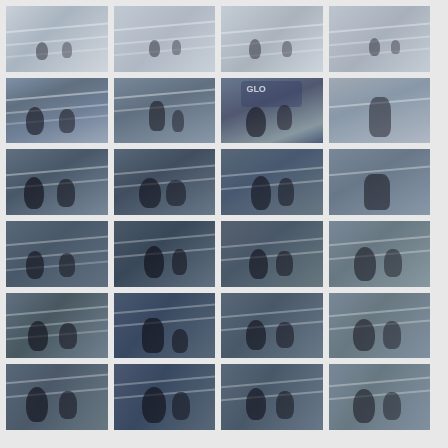[Figure (photo): Grid of 24 kickboxing/boxing match photos showing fighters in a ring, arena settings, GLORY kickboxing event]
[Figure (photo): Boxing ring overhead view, two fighters]
[Figure (photo): Boxing ring overhead view]
[Figure (photo): Boxing ring view with fighters]
[Figure (photo): Boxing ring overhead]
[Figure (photo): Two fighters in ring, crowd visible]
[Figure (photo): Fighter raising hand, victory pose at GLORY event]
[Figure (photo): GLORY kickboxing event, official and fighter, GLORY banner behind]
[Figure (photo): Shirtless fighter posing, arena background]
[Figure (photo): Fighter throwing punch, ring ropes visible]
[Figure (photo): Two fighters exchanging blows in ring]
[Figure (photo): Fighters in ring, wide shot]
[Figure (photo): Fighter close-up during bout]
[Figure (photo): Two fighters clinching in ring]
[Figure (photo): Fighter with arm raised in ring]
[Figure (photo): Fighters grappling in ring]
[Figure (photo): Two fighters exchanging punches]
[Figure (photo): Fighters in ring action shot]
[Figure (photo): Fighter throwing kick]
[Figure (photo): Fighters clinching, ring ropes]
[Figure (photo): Two fighters in bout, arena lighting]
[Figure (photo): Fighters brawling in ring]
[Figure (photo): Fighter throwing punch, dark arena]
[Figure (photo): Two fighters in ring action]
[Figure (photo): Fighters exchanging blows, ring ropes visible]